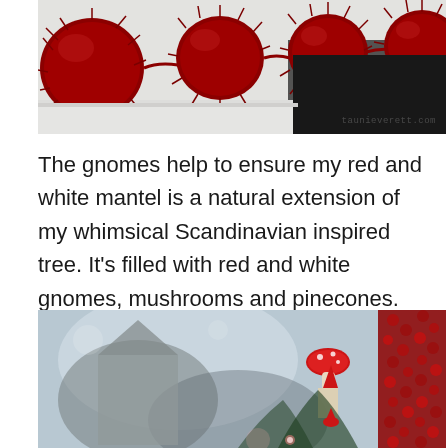[Figure (photo): Photo of large red yarn pom-poms strung as a garland along a white mantel or shelf, with a dark fireplace opening visible in the background. Watermark reads 'taunieverett.com' in lower right.]
The gnomes help to ensure my red and white mantel is a natural extension of my whimsical Scandinavian inspired tree. It's filled with red and white gnomes, mushrooms and pinecones.
[Figure (photo): Close-up photo of a Christmas tree decorated in Scandinavian style, showing a small mushroom ornament, gnome figures, and red berry or pinecone decorations on the right side.]